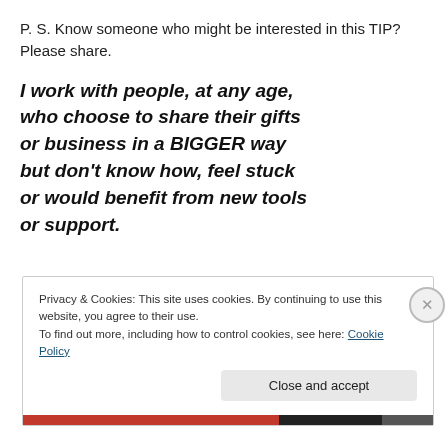P. S. Know someone who might be interested in this TIP? Please share.
I work with people, at any age, who choose to share their gifts or business in a BIGGER way but don't know how, feel stuck or would benefit from new tools or support.
Privacy & Cookies: This site uses cookies. By continuing to use this website, you agree to their use.
To find out more, including how to control cookies, see here: Cookie Policy